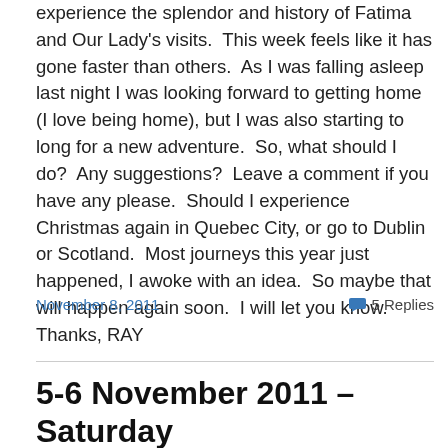experience the splendor and history of Fatima and Our Lady's visits.  This week feels like it has gone faster than others.  As I was falling asleep last night I was looking forward to getting home (I love being home), but I was also starting to long for a new adventure.  So, what should I do?  Any suggestions?  Leave a comment if you have any please.  Should I experience Christmas again in Quebec City, or go to Dublin or Scotland.  Most journeys this year just happened, I awoke with an idea.  So maybe that will happen again soon.  I will let you know.  Thanks, RAY
November 8, 2011
5 Replies
5-6 November 2011 – Saturday